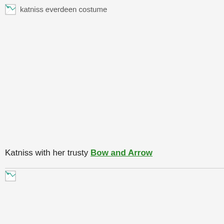[Figure (photo): Broken image placeholder with alt text 'katniss everdeen costume']
Katniss with her trusty Bow and Arrow
[Figure (photo): Second broken image placeholder below a horizontal rule]